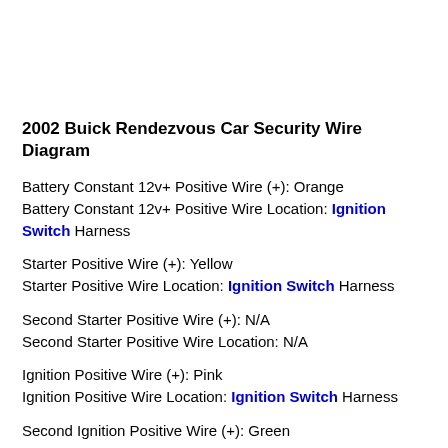2002 Buick Rendezvous Car Security Wire Diagram
Battery Constant 12v+ Positive Wire (+): Orange
Battery Constant 12v+ Positive Wire Location: Ignition Switch Harness
Starter Positive Wire (+): Yellow
Starter Positive Wire Location: Ignition Switch Harness
Second Starter Positive Wire (+): N/A
Second Starter Positive Wire Location: N/A
Ignition Positive Wire (+): Pink
Ignition Positive Wire Location: Ignition Switch Harness
Second Ignition Positive Wire (+): Green